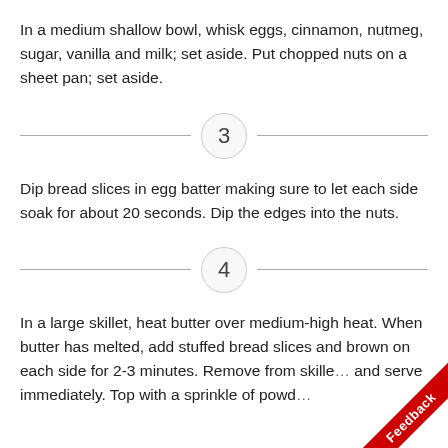In a medium shallow bowl, whisk eggs, cinnamon, nutmeg, sugar, vanilla and milk; set aside. Put chopped nuts on a sheet pan; set aside.
3
Dip bread slices in egg batter making sure to let each side soak for about 20 seconds. Dip the edges into the nuts.
4
In a large skillet, heat butter over medium-high heat. When butter has melted, add stuffed bread slices and brown on each side for 2-3 minutes. Remove from skillet and serve immediately. Top with a sprinkle of powd…